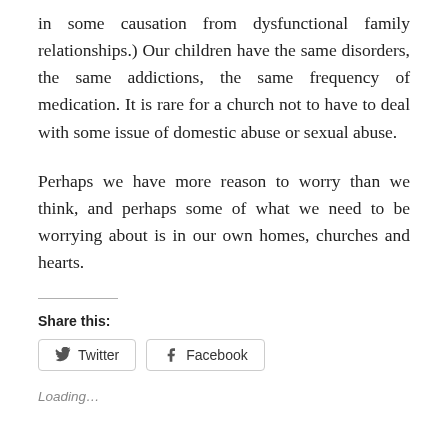in some causation from dysfunctional family relationships.) Our children have the same disorders, the same addictions, the same frequency of medication. It is rare for a church not to have to deal with some issue of domestic abuse or sexual abuse.
Perhaps we have more reason to worry than we think, and perhaps some of what we need to be worrying about is in our own homes, churches and hearts.
Share this:
[Figure (other): Social share buttons: Twitter and Facebook]
Loading...